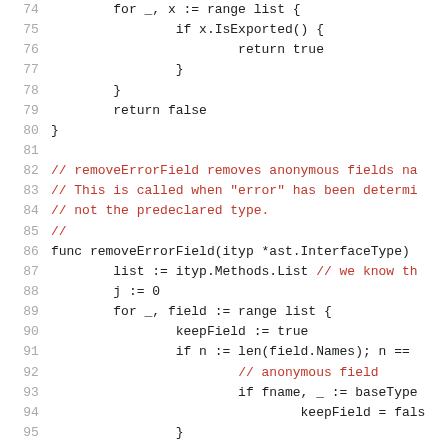[Figure (screenshot): Source code listing in Go language showing lines 74-95. Lines 74-80 show a for-range loop with IsExported check. Lines 82-86 show a comment block and function declaration for removeErrorField. Lines 87-95 show the function body with list, j variable, for-range loop, keepField, and conditional logic. Comments appear in red/dark red, code in dark/black.]